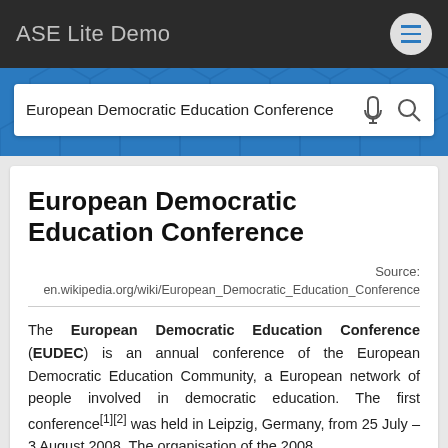ASE Lite Demo
European Democratic Education Conference
European Democratic Education Conference
Source: en.wikipedia.org/wiki/European_Democratic_Education_Conference
The European Democratic Education Conference (EUDEC) is an annual conference of the European Democratic Education Community, a European network of people involved in democratic education. The first conference[1][2] was held in Leipzig, Germany, from 25 July – 3 August 2008. The organisation of the 2008 conference was led by the members of the EUDEC